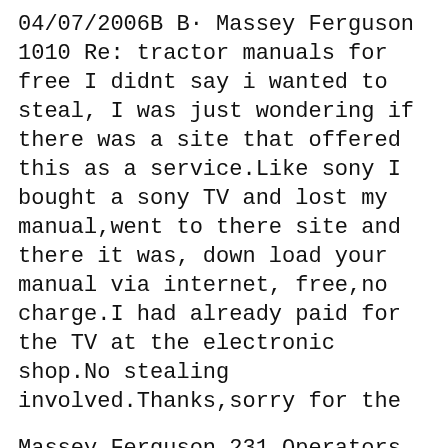04/07/2006B B· Massey Ferguson 1010 Re: tractor manuals for free I didnt say i wanted to steal, I was just wondering if there was a site that offered this as a service.Like sony I bought a sony TV and lost my manual,went to there site and there it was, down load your manual via internet, free,no charge.I had already paid for the TV at the electronic shop.No stealing involved.Thanks,sorry for the
Massey Ferguson 231 Operators Manual When this Massey Ferguson Equipment was new, the dealer would have given you the Operator Manual for your Tractor. Also known as the owners, user, or care and operation manual, this 98